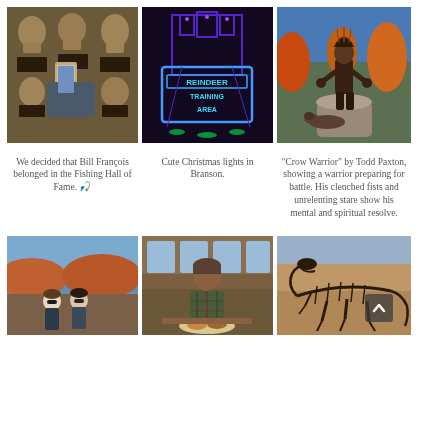[Figure (photo): Person taking a selfie in front of bronze busts on a wall (Fishing Hall of Fame)]
We decided that Bill François belonged in the Fishing Hall of Fame. 🎣
[Figure (photo): Christmas lights at night in Branson showing a 'Reindeer Training Area' neon sign]
Cute Christmas lights in Branson.
[Figure (photo): Bronze statue of a Crow Warrior against autumn trees and blue sky]
"Crow Warrior" by Todd Paxton, showing a warrior preparing for battle. His clenched fists and unrelenting stare show his mental and spiritual resolve.
[Figure (photo): Two women posing at an overlook with autumn foliage and lake view]
[Figure (photo): Man sitting at a restaurant table with plates of food]
[Figure (photo): Dinosaur skeleton fossil display]